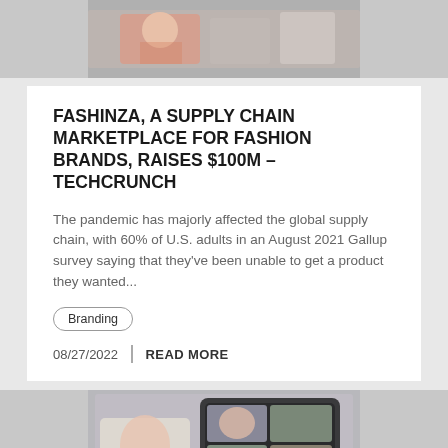[Figure (photo): Top portion of a photo showing people at what appears to be a retail checkout or store counter, partially cropped at top]
FASHINZA, A SUPPLY CHAIN MARKETPLACE FOR FASHION BRANDS, RAISES $100M – TECHCRUNCH
The pandemic has majorly affected the global supply chain, with 60% of U.S. adults in an August 2021 Gallup survey saying that they've been unable to get a product they wanted...
Branding
08/27/2022   READ MORE
[Figure (photo): Bottom portion showing a video call on a laptop and phone, person holding phone showing video conference with multiple participants]